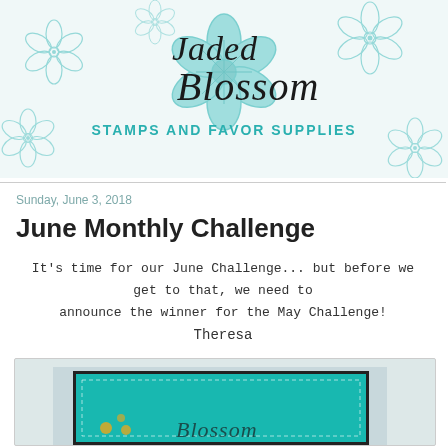[Figure (logo): Jaded Blossom Stamps and Favor Supplies logo with floral background in teal/turquoise colors]
Sunday, June 3, 2018
June Monthly Challenge
It's time for our June Challenge... but before we get to that, we need to
announce the winner for the May Challenge!
Theresa
[Figure (photo): Partial view of a handmade greeting card on teal background with dark border and gold dot embellishments, with partially visible handwritten text]